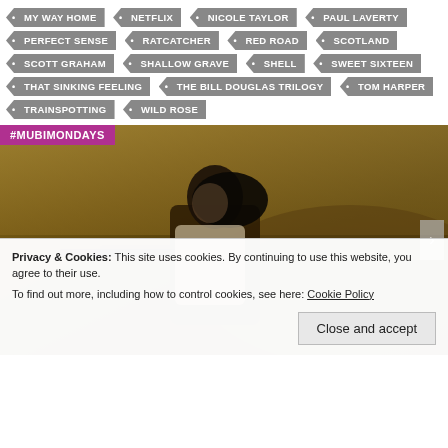MY WAY HOME
NETFLIX
NICOLE TAYLOR
PAUL LAVERTY
PERFECT SENSE
RATCATCHER
RED ROAD
SCOTLAND
SCOTT GRAHAM
SHALLOW GRAVE
SHELL
SWEET SIXTEEN
THAT SINKING FEELING
THE BILL DOUGLAS TRILOGY
TOM HARPER
TRAINSPOTTING
WILD ROSE
[Figure (photo): Film still showing a person with dark hair aiming a rifle/gun, set against a dry outdoor landscape. Purple banner with #MUBIMONDAYS text overlaid at top left.]
Privacy & Cookies: This site uses cookies. By continuing to use this website, you agree to their use.
To find out more, including how to control cookies, see here: Cookie Policy
Close and accept